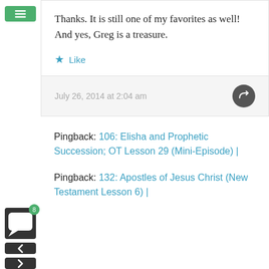Thanks. It is still one of my favorites as well! And yes, Greg is a treasure.
★ Like
July 26, 2014 at 2:04 am
Pingback: 106: Elisha and Prophetic Succession; OT Lesson 29 (Mini-Episode) |
Pingback: 132: Apostles of Jesus Christ (New Testament Lesson 6) |